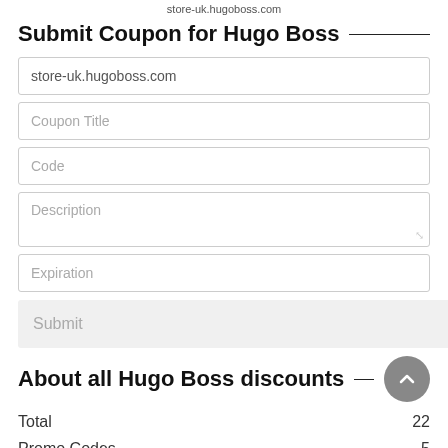store-uk.hugoboss.com
Submit Coupon for Hugo Boss
store-uk.hugoboss.com
Coupon Title
Code
Description
Expiration
Submit
About all Hugo Boss discounts
|  |  |
| --- | --- |
| Total | 22 |
| Promo Codes | 5 |
| Deals | 17 |